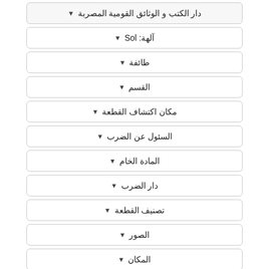دار الكتب و الوثائق القومية المصربة
آلهة: Sol
طائفة
القسم
مكان اكتشاف القطعة
السئول عن الضرب
المادة الخام
دار الضرب
تصنيف القطعة
الصور
المكان